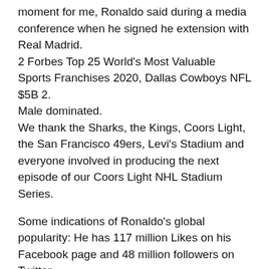moment for me, Ronaldo said during a media conference when he signed he extension with Real Madrid.
2 Forbes Top 25 World's Most Valuable Sports Franchises 2020, Dallas Cowboys NFL $5B 2.
Male dominated.
We thank the Sharks, the Kings, Coors Light, the San Francisco 49ers, Levi's Stadium and everyone involved in producing the next episode of our Coors Light NHL Stadium Series.
Some indications of Ronaldo's global popularity: He has 117 million Likes on his Facebook page and 48 million followers on Twitter.
Roger Federer $106 million $6 million salary winnings $100 million endorsements Tennis 2.
Back to Home Page.
Miller now becomes CMO for NBC Olympics, with the network in place as the exclusive U.S.